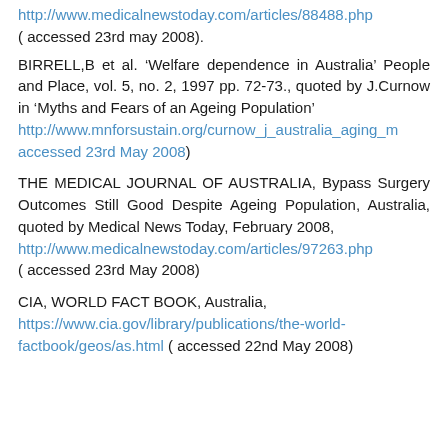http://www.medicalnewstoday.com/articles/88488.php ( accessed 23rd may 2008).
BIRRELL,B et al. ‘Welfare dependence in Australia’ People and Place, vol. 5, no. 2, 1997 pp. 72-73., quoted by J.Curnow in ‘Myths and Fears of an Ageing Population’ http://www.mnforsustain.org/curnow_j_australia_aging_m accessed 23rd May 2008)
THE MEDICAL JOURNAL OF AUSTRALIA, Bypass Surgery Outcomes Still Good Despite Ageing Population, Australia, quoted by Medical News Today, February 2008, http://www.medicalnewstoday.com/articles/97263.php ( accessed 23rd May 2008)
CIA, WORLD FACT BOOK, Australia, https://www.cia.gov/library/publications/the-world-factbook/geos/as.html ( accessed 22nd May 2008)